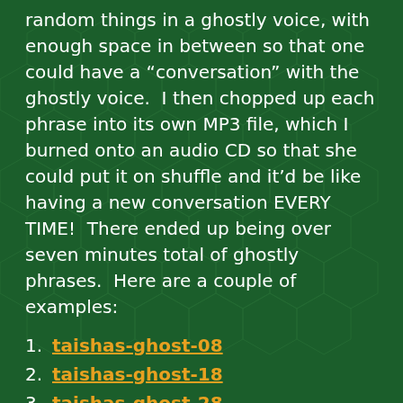random things in a ghostly voice, with enough space in between so that one could have a “conversation” with the ghostly voice.  I then chopped up each phrase into its own MP3 file, which I burned onto an audio CD so that she could put it on shuffle and it’d be like having a new conversation EVERY TIME!  There ended up being over seven minutes total of ghostly phrases.  Here are a couple of examples:
taishas-ghost-08
taishas-ghost-18
taishas-ghost-28
leiapico came to Fools Play, which was awexome.  I hadn’t seen her in months because now she’s a big-wig science teacher and is too important to hang out with lowly improvisers like me.  *sniff*
Anyway, that’s my story of three birthdays and a concert.